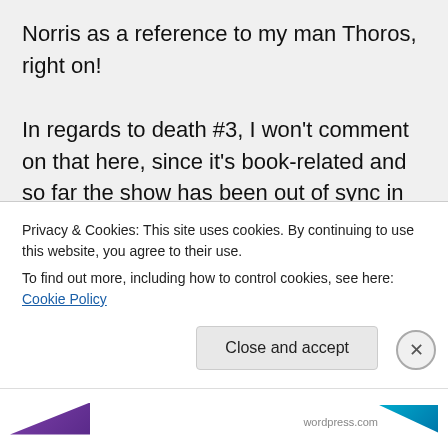Norris as a reference to my man Thoros, right on!

In regards to death #3, I won't comment on that here, since it's book-related and so far the show has been out of sync in that regards. But I'm not sure in the books if we can lay that in Melisandre's lap. Our only insight into that event (other than the reports of a storm) are the visions that Arya hears about from the old woman of Horn
Privacy & Cookies: This site uses cookies. By continuing to use this website, you agree to their use.
To find out more, including how to control cookies, see here: Cookie Policy
Close and accept